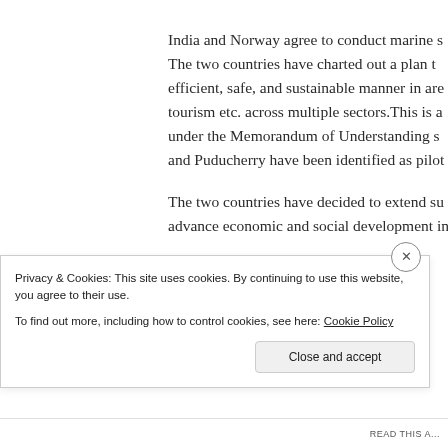India and Norway agree to conduct marine s... The two countries have charted out a plan to efficient, safe, and sustainable manner in area tourism etc. across multiple sectors. This is a under the Memorandum of Understanding s and Puducherry have been identified as pilot
The two countries have decided to extend su advance economic and social development in
Privacy & Cookies: This site uses cookies. By continuing to use this website, you agree to their use. To find out more, including how to control cookies, see here: Cookie Policy
Close and accept